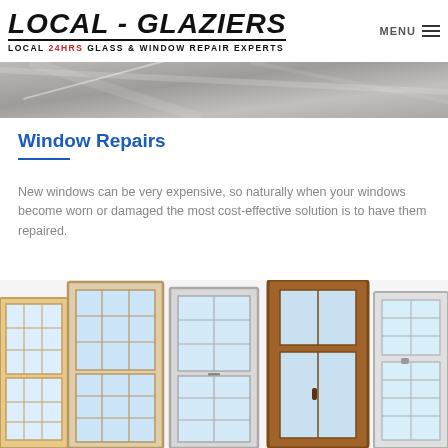LOCAL - GLAZIERS | LOCAL 24HRS GLASS & WINDOW REPAIR EXPERTS
[Figure (photo): Hero banner strip showing close-up of window/glass surface, grey tones]
Window Repairs
New windows can be very expensive, so naturally when your windows become worn or damaged the most cost-effective solution is to have them repaired.
[Figure (photo): Row of various window styles including wooden framed multi-pane sash windows and casement windows in different materials and colors]